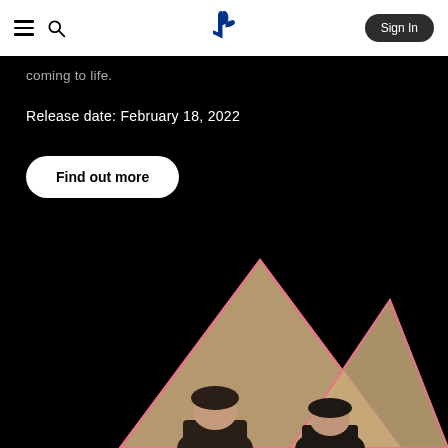Menu | Search | PlayStation Logo | Sign In
coming to life.
Release date: February 18, 2022
Find out more
[Figure (photo): Promotional image showing characters/people emerging from triangular gold/pink geometric shapes against a black background, visible from the shoulders/heads up]